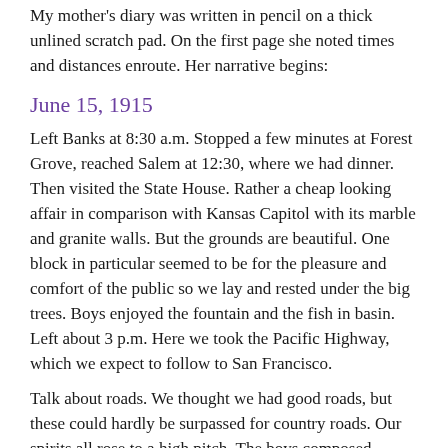My mother's diary was written in pencil on a thick unlined scratch pad. On the first page she noted times and distances enroute. Her narrative begins:
June 15, 1915
Left Banks at 8:30 a.m. Stopped a few minutes at Forest Grove, reached Salem at 12:30, where we had dinner. Then visited the State House. Rather a cheap looking affair in comparison with Kansas Capitol with its marble and granite walls. But the grounds are beautiful. One block in particular seemed to be for the pleasure and comfort of the public so we lay and rested under the big trees. Boys enjoyed the fountain and the fish in basin. Left about 3 p.m. Here we took the Pacific Highway, which we expect to follow to San Francisco.
Talk about roads. We thought we had good roads, but these could hardly be surpassed for country roads. Our spirits all rose to a high pitch. The boys composed "Ching Chong Chinaman" rhymes. The Dr. repeated snatches of "Sheridan's Ride":
"But there is a Highway from Winchester town,
A good broad highway leading down...
Hill...